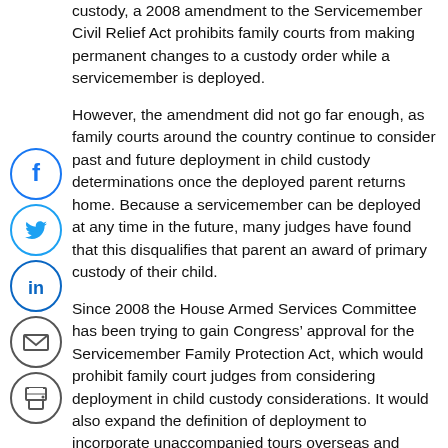custody, a 2008 amendment to the Servicemember Civil Relief Act prohibits family courts from making permanent changes to a custody order while a servicemember is deployed.
However, the amendment did not go far enough, as family courts around the country continue to consider past and future deployment in child custody determinations once the deployed parent returns home. Because a servicemember can be deployed at any time in the future, many judges have found that this disqualifies that parent an award of primary custody of their child.
Since 2008 the House Armed Services Committee has been trying to gain Congress’ approval for the Servicemember Family Protection Act, which would prohibit family court judges from considering deployment in child custody considerations. It would also expand the definition of deployment to incorporate unaccompanied tours overseas and humanitarian missions.